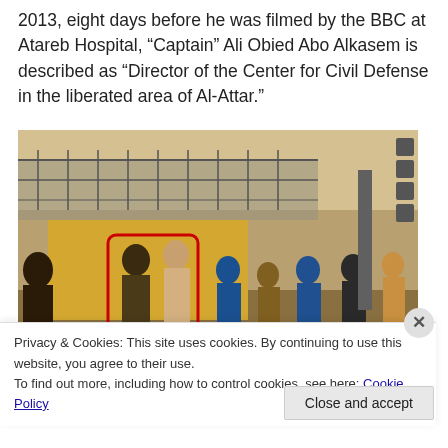2013, eight days before he was filmed by the BBC at Atareb Hospital, “Captain” Ali Obied Abo Alkasem is described as “Director of the Center for Civil Defense in the liberated area of Al-Attar.”
[Figure (photo): Outdoor scene showing a group of people standing near a fence and a yellow wall. One person in military-style clothing is highlighted with a red rectangle. The scene appears to be taken in bright sunlight.]
Privacy & Cookies: This site uses cookies. By continuing to use this website, you agree to their use.
To find out more, including how to control cookies, see here: Cookie Policy